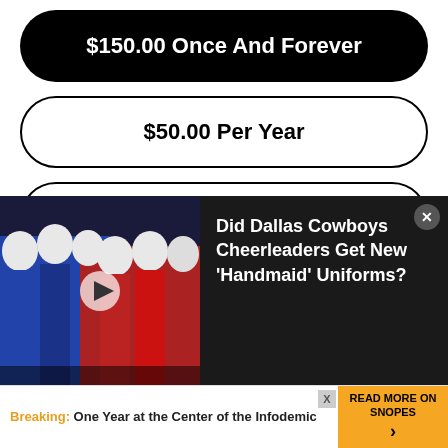$150.00 Once And Forever
$50.00 Per Year
$12.50 Every 3 Months
$5.00 Per Month
[Figure (photo): People dressed in blue and red Handmaid's Tale costumes with white bonnets. A video play button overlay is visible.]
Did Dallas Cowboys Cheerleaders Get New 'Handmaid' Uniforms?
Breaking: One Year at the Center of the Infodemic
READ MORE ON SNOPES